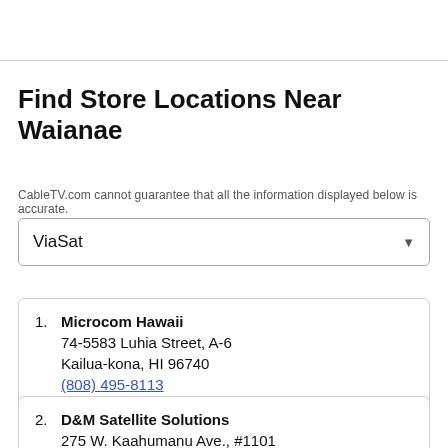Find Store Locations Near Waianae
CableTV.com cannot guarantee that all the information displayed below is accurate.
ViaSat
1. Microcom Hawaii
74-5583 Luhia Street, A-6
Kailua-kona, HI 96740
(808) 495-8113
2. D&M Satellite Solutions
275 W. Kaahumanu Ave., #1101
Kahului, HI 96732